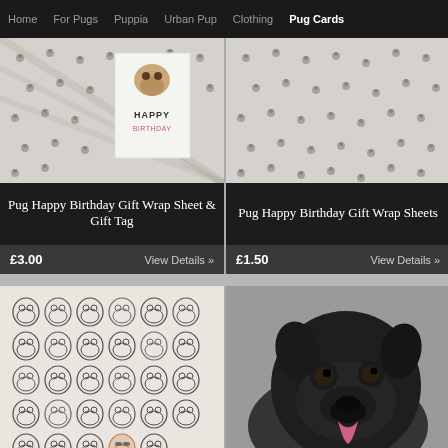Home   For Pugs   Puppia   Urban Pup   Clothing   Pug Cards
[Figure (photo): Pug happy birthday gift wrap sheet with gift tag - wrapping paper with pug pattern and a white birthday card]
Pug Happy Birthday Gift Wrap Sheet & Gift Tag
£3.00     View Details »
[Figure (photo): Pug happy birthday gift wrap sheets - wrapping paper with pug pattern]
Pug Happy Birthday Gift Wrap Sheets
£1.50     View Details »
[Figure (illustration): Sheet of cartoon pug illustrations in black and white, showing many small pug drawings in various poses with glasses]
[Figure (photo): Close-up photo of a black pug puppy with pink tongue]